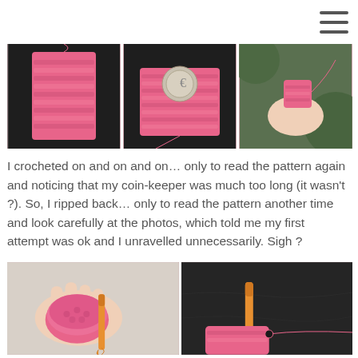≡
[Figure (photo): Three photos side by side showing pink crocheted coin keeper/purse on black fabric: left shows the stitched body, middle shows coin keeper with a large coin placed on it, right shows a hand holding the small crocheted piece.]
I crocheted on and on and on… only to read the pattern again and noticing that my coin-keeper was much too long (it wasn't ?). So, I ripped back… only to read the pattern another time and look carefully at the photos, which told me my first attempt was ok and I unravelled unnecessarily. Sigh ?
[Figure (photo): Two photos side by side showing crocheted pink coin purse in progress: left shows hands holding small pink crocheted pouch with orange crochet hook inserted, right shows dark fabric background with yellow/orange crochet hook and pink yarn.]